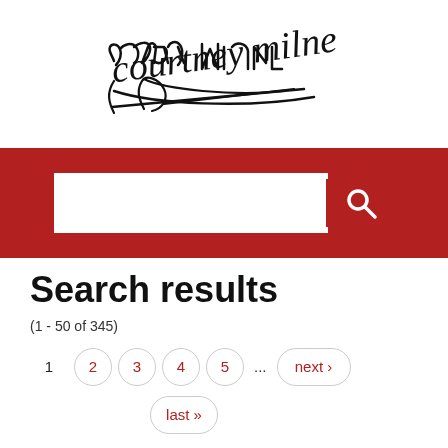[Figure (logo): Courtney Milne signature/logo in cursive handwriting style]
[Figure (screenshot): Red search bar with white input field and red search icon button]
Search results
(1 - 50 of 345)
1  2  3  4  5  ...  next ›  last »